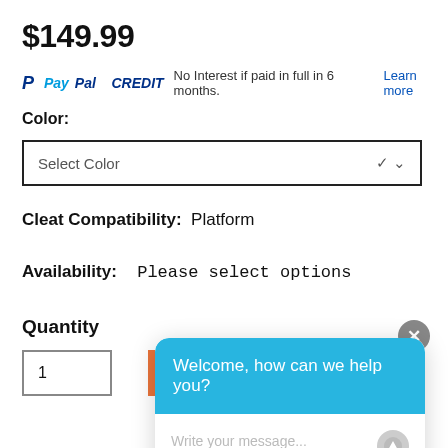$149.99
PayPal CREDIT No Interest if paid in full in 6 months. Learn more
Color:
Select Color
Cleat Compatibility: Platform
Availability: Please select options
Quantity
1
Welcome, how can we help you?
Write your message...